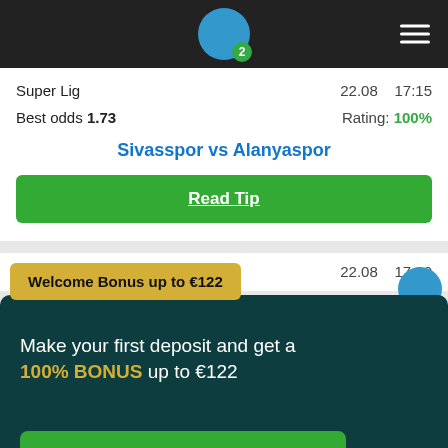Navigation bar with logo circle badge 2 and hamburger menu
Super Lig   22.08   17:15
Best odds 1.73   Rating: 100%
Sivasspor vs Alanyaspor
Read Tip
Se...   22.08   17:30
Welcome Bonus up to €122
Make your first deposit and get a 100% BONUS up to €122
CLAIM THE BONUS